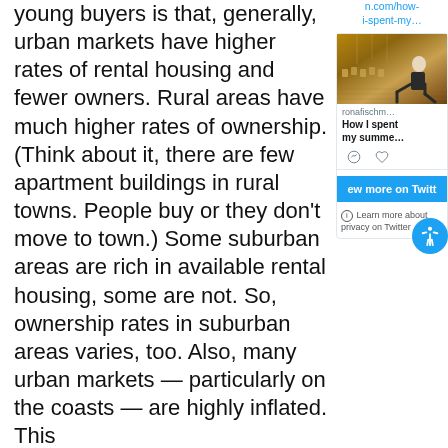young buyers is that, generally, urban markets have higher rates of rental housing and fewer owners. Rural areas have much higher rates of ownership. (Think about it, there are few apartment buildings in rural towns. People buy or they don't move to town.) Some suburban areas are rich in available rental housing, some are not. So, ownership rates in suburban areas varies, too. Also, many urban markets — particularly on the coasts — are highly inflated. This
[Figure (screenshot): Twitter sidebar widget showing a tweet link, a photo of a person sitting in a large hall, author name 'ronafischm...', tweet title 'How I spent my summe...', action icons, a 'View more on Twitter' button, and a 'Learn more about privacy on Twitter' note.]